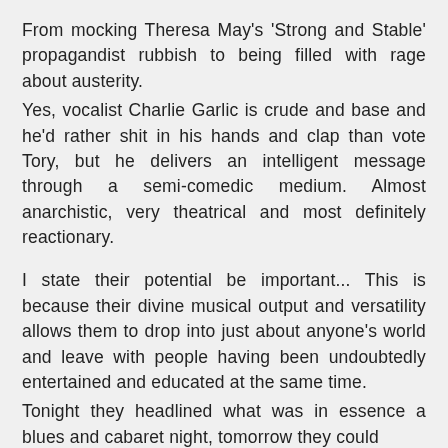From mocking Theresa May's 'Strong and Stable' propagandist rubbish to being filled with rage about austerity.
Yes, vocalist Charlie Garlic is crude and base and he'd rather shit in his hands and clap than vote Tory, but he delivers an intelligent message through a semi-comedic medium. Almost anarchistic, very theatrical and most definitely reactionary.
I state their potential be important... This is because their divine musical output and versatility allows them to drop into just about anyone's world and leave with people having been undoubtedly entertained and educated at the same time.
Tonight they headlined what was in essence a blues and cabaret night, tomorrow they could